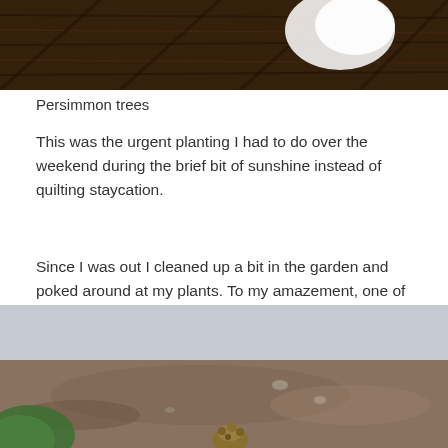[Figure (photo): Top portion of a photo showing what appears to be wooden beams/roof structure with a white object visible, cropped at the top of the page]
Persimmon trees
This was the urgent planting I had to do over the weekend during the brief bit of sunshine instead of quilting staycation.
Since I was out I cleaned up a bit in the garden and poked around at my plants. To my amazement, one of my plumeria stalks had this…
[Figure (photo): Outdoor garden photo showing blurred background of soil/ground with a small plant sprout or bud visible at the bottom, with a green blurred object on the left side]